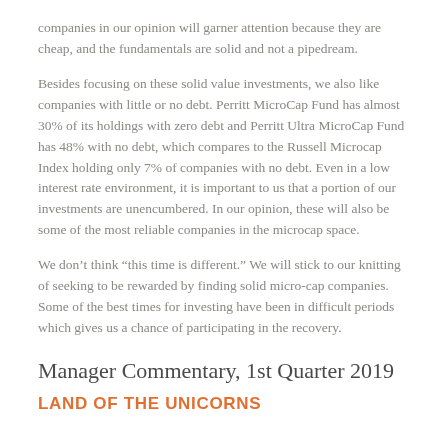companies in our opinion will garner attention because they are cheap, and the fundamentals are solid and not a pipedream.
Besides focusing on these solid value investments, we also like companies with little or no debt. Perritt MicroCap Fund has almost 30% of its holdings with zero debt and Perritt Ultra MicroCap Fund has 48% with no debt, which compares to the Russell Microcap Index holding only 7% of companies with no debt. Even in a low interest rate environment, it is important to us that a portion of our investments are unencumbered. In our opinion, these will also be some of the most reliable companies in the microcap space.
We don’t think “this time is different.” We will stick to our knitting of seeking to be rewarded by finding solid micro-cap companies. Some of the best times for investing have been in difficult periods which gives us a chance of participating in the recovery.
Manager Commentary, 1st Quarter 2019
LAND OF THE UNICORNS